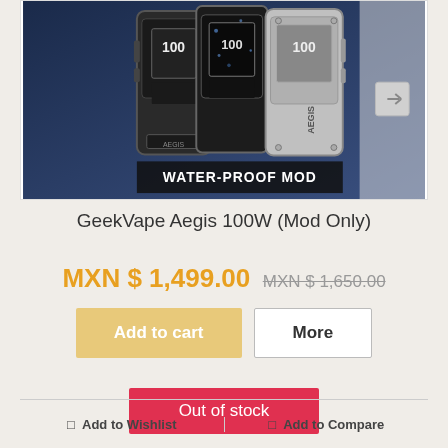[Figure (photo): Product photo of GeekVape Aegis 100W mod in black and silver variants, with text 'WATER-PROOF MOD' at bottom]
GeekVape Aegis 100W (Mod Only)
MXN $ 1,499.00  MXN $ 1,650.00
Add to cart | More
Out of stock
Add to Wishlist | Add to Compare